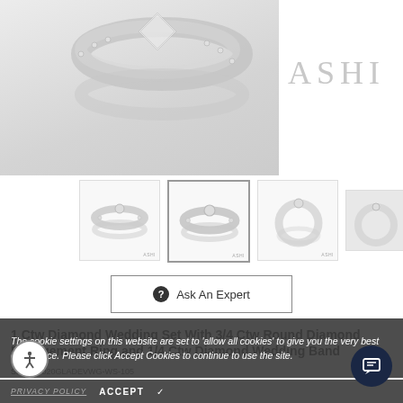[Figure (photo): Close-up photo of diamond wedding ring set in white gold, shown from above with sparkle, ASHI brand watermark visible]
[Figure (photo): Thumbnail 1: Front view of diamond wedding ring set, two bands]
[Figure (photo): Thumbnail 2: Front-center view of diamond wedding ring set]
[Figure (photo): Thumbnail 3: Side profile view of diamond wedding ring set]
[Figure (photo): Thumbnail 4: Partial/cropped view of ring set]
Ask An Expert
The cookie settings on this website are set to 'allow all cookies' to give you the very best experience. Please click Accept Cookies to continue to use the site.
1 Ctw Diamond Wedding Set With 3/4 Ctw Round Diamond Engagement Ring and 1/4 Ctw Diamond Wedding Band
SKU: 19020GLADEVWG-WS-105
PRIVACY POLICY   ACCEPT ✓